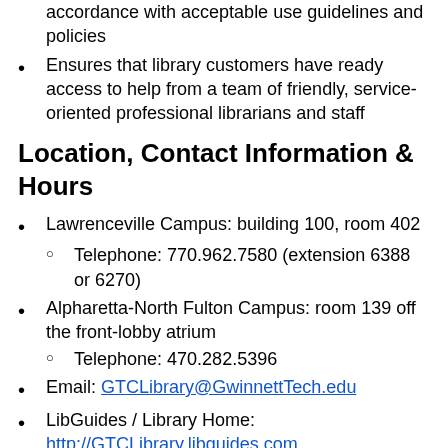accordance with acceptable use guidelines and policies
Ensures that library customers have ready access to help from a team of friendly, service-oriented professional librarians and staff
Location, Contact Information & Hours
Lawrenceville Campus: building 100, room 402
Telephone: 770.962.7580 (extension 6388 or 6270)
Alpharetta-North Fulton Campus: room 139 off the front-lobby atrium
Telephone: 470.282.5396
Email: GTCLibrary@GwinnettTech.edu
LibGuides / Library Home: http://GTCLibrary.libguides.com